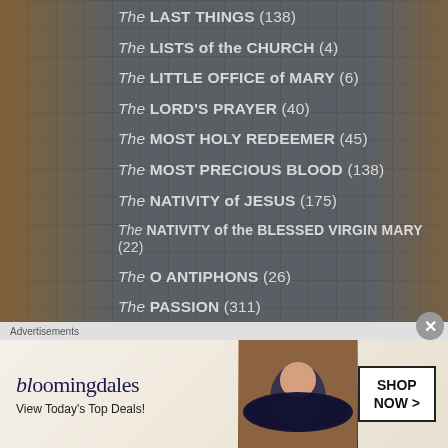The LAST THINGS (138)
The LISTS of the CHURCH (4)
The LITTLE OFFICE of MARY (6)
The LORD'S PRAYER (40)
The MOST HOLY REDEEMER (45)
The MOST PRECIOUS BLOOD (138)
The NATIVITY of JESUS (175)
The NATIVITY of the BLESSED VIRGIN MARY (22)
The O ANTIPHONS (26)
The PASSION (311)
[Figure (advertisement): Bloomingdales advertisement: View Today's Top Deals! with SHOP NOW button and woman with hat image]